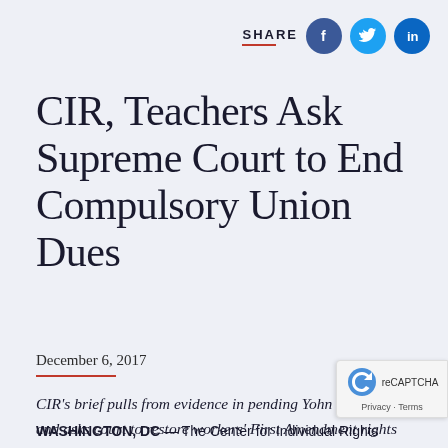[Figure (other): Share bar with Facebook, Twitter, and LinkedIn social icons]
CIR, Teachers Ask Supreme Court to End Compulsory Union Dues
December 6, 2017
CIR's brief pulls from evidence in pending Yohn v. CTA case and asks court to restore workers' First Amendment rights and end burdensome opt-out procedures.
WASHINGTON, DC — The Center for Individual Rights